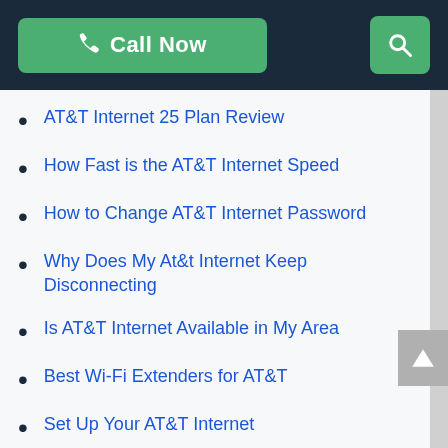Call Now (search button)
AT&T Internet 25 Plan Review
How Fast is the AT&T Internet Speed
How to Change AT&T Internet Password
Why Does My At&t Internet Keep Disconnecting
Is AT&T Internet Available in My Area
Best Wi-Fi Extenders for AT&T
Set Up Your AT&T Internet
Is AT&T Fiber Good for Gaming